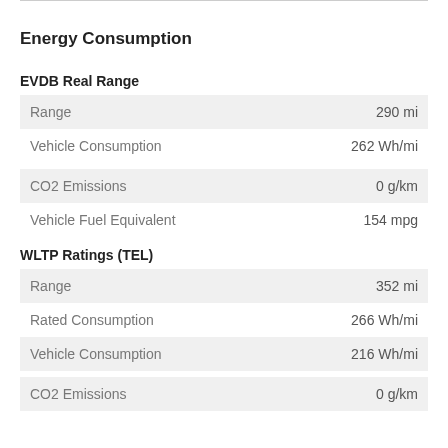Energy Consumption
EVDB Real Range
|  |  |
| --- | --- |
| Range | 290 mi |
| Vehicle Consumption | 262 Wh/mi |
| CO2 Emissions | 0 g/km |
| Vehicle Fuel Equivalent | 154 mpg |
WLTP Ratings (TEL)
|  |  |
| --- | --- |
| Range | 352 mi |
| Rated Consumption | 266 Wh/mi |
| Vehicle Consumption | 216 Wh/mi |
| CO2 Emissions | 0 g/km |